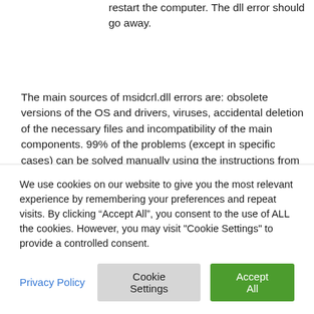restart the computer. The dll error should go away.
The main sources of msidcrl.dll errors are: obsolete versions of the OS and drivers, viruses, accidental deletion of the necessary files and incompatibility of the main components. 99% of the problems (except in specific cases) can be solved manually using the instructions from the sections above, or
We use cookies on our website to give you the most relevant experience by remembering your preferences and repeat visits. By clicking “Accept All”, you consent to the use of ALL the cookies. However, you may visit "Cookie Settings" to provide a controlled consent.
Privacy Policy
Cookie Settings
Accept All